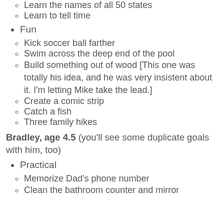Learn the names of all 50 states
Learn to tell time
Fun
Kick soccer ball farther
Swim across the deep end of the pool
Build something out of wood [This one was totally his idea, and he was very insistent about it. I'm letting Mike take the lead.]
Create a comic strip
Catch a fish
Three family hikes
Bradley, age 4.5 (you'll see some duplicate goals with him, too)
Practical
Memorize Dad's phone number
Clean the bathroom counter and mirror